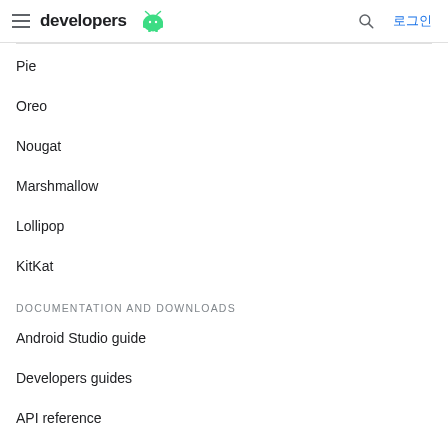developers 로그인
Pie
Oreo
Nougat
Marshmallow
Lollipop
KitKat
DOCUMENTATION AND DOWNLOADS
Android Studio guide
Developers guides
API reference
Download Studio
Android NDK